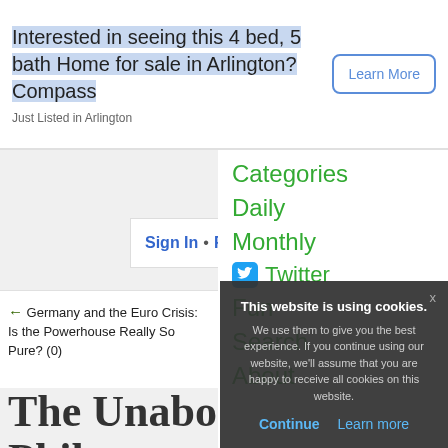[Figure (screenshot): Ad banner for a 4 bed 5 bath home for sale in Arlington via Compass, with a Learn More button]
Sign In • Register • Forgot passw...
← Germany and the Euro Crisis: Is the Powerhouse Really So Pure? (0)  Front Page  How to D... Vote fo... the Cou... C...
Categories
Daily
Monthly
Twitter
Fun
Search
About
The Unabomber's Pen Philoso...
This website is using cookies. We use them to give you the best experience. If you continue using our website, we'll assume that you are happy to receive all cookies on this website. Continue  Learn more